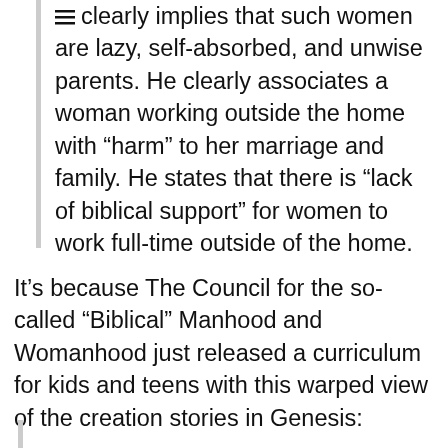clearly implies that such women are lazy, self-absorbed, and unwise parents. He clearly associates a woman working outside the home with “harm” to her marriage and family. He states that there is “lack of biblical support” for women to work full-time outside of the home.
It’s because The Council for the so-called “Biblical” Manhood and Womanhood just released a curriculum for kids and teens with this warped view of the creation stories in Genesis: